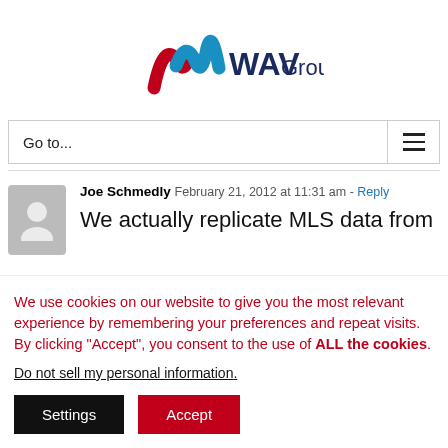[Figure (logo): WAV Group logo with blue and red ribbon W mark and dark blue WAVGroup text]
Go to...
Joe Schmedly  February 21, 2012 at 11:31 am - Reply
We actually replicate MLS data from
We use cookies on our website to give you the most relevant experience by remembering your preferences and repeat visits. By clicking “Accept”, you consent to the use of ALL the cookies.
Do not sell my personal information.
Settings
Accept